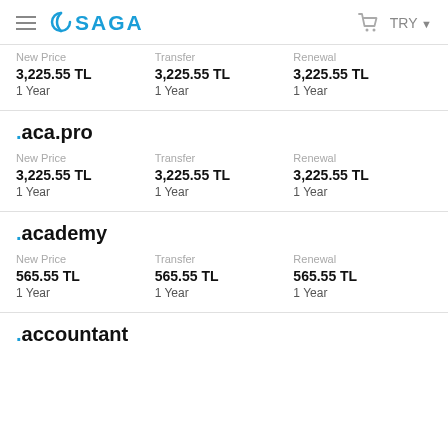SAGA — TRY
| New Price | Transfer | Renewal |
| --- | --- | --- |
| 3,225.55 TL | 3,225.55 TL | 3,225.55 TL |
| 1 Year | 1 Year | 1 Year |
.aca.pro
| New Price | Transfer | Renewal |
| --- | --- | --- |
| 3,225.55 TL | 3,225.55 TL | 3,225.55 TL |
| 1 Year | 1 Year | 1 Year |
.academy
| New Price | Transfer | Renewal |
| --- | --- | --- |
| 565.55 TL | 565.55 TL | 565.55 TL |
| 1 Year | 1 Year | 1 Year |
.accountant